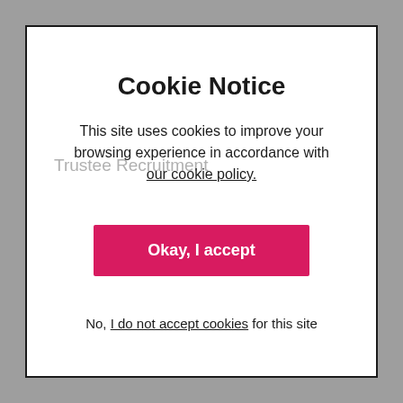Cookie Notice
This site uses cookies to improve your browsing experience in accordance with our cookie policy.
Okay, I accept
No, I do not accept cookies for this site